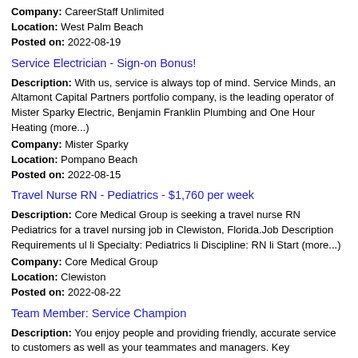Company: CareerStaff Unlimited
Location: West Palm Beach
Posted on: 2022-08-19
Service Electrician - Sign-on Bonus!
Description: With us, service is always top of mind. Service Minds, an Altamont Capital Partners portfolio company, is the leading operator of Mister Sparky Electric, Benjamin Franklin Plumbing and One Hour Heating (more...)
Company: Mister Sparky
Location: Pompano Beach
Posted on: 2022-08-15
Travel Nurse RN - Pediatrics - $1,760 per week
Description: Core Medical Group is seeking a travel nurse RN Pediatrics for a travel nursing job in Clewiston, Florida.Job Description Requirements ul li Specialty: Pediatrics li Discipline: RN li Start (more...)
Company: Core Medical Group
Location: Clewiston
Posted on: 2022-08-22
Team Member: Service Champion
Description: You enjoy people and providing friendly, accurate service to customers as well as your teammates and managers. Key responsibilities include greeting customers
Company: Taco Bell